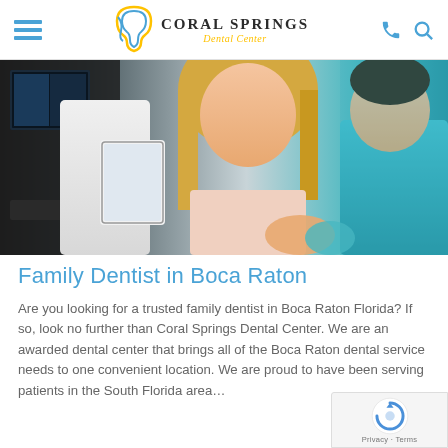Coral Springs Dental Center
[Figure (photo): Dental office scene with a dentist in a white coat holding a tablet, a young blonde girl patient, and another child in a teal shirt in the background]
Family Dentist in Boca Raton
Are you looking for a trusted family dentist in Boca Raton Florida? If so, look no further than Coral Springs Dental Center. We are an awarded dental center that brings all of the Boca Raton dental service needs to one convenient location. We are proud to have been serving patients in the South Florida area…